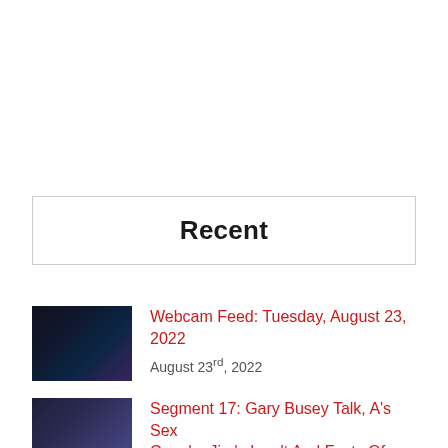Recent
Webcam Feed: Tuesday, August 23, 2022 — August 23rd, 2022
Segment 17: Gary Busey Talk, A's Sex Couple, Jim's Insult And Facts Of The Day